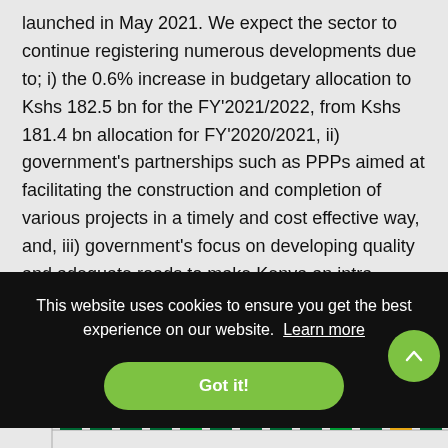launched in May 2021. We expect the sector to continue registering numerous developments due to; i) the 0.6% increase in budgetary allocation to Kshs 182.5 bn for the FY'2021/2022, from Kshs 181.4 bn allocation for FY'2020/2021, ii) government's partnerships such as PPPs aimed at facilitating the construction and completion of various projects in a timely and cost effective way, and, iii) government's focus on developing quality and adequate roads to make Kenya an intra-regional hub for trade in East Africa.
The graph below shows the budget allocation to the
This website uses cookies to ensure you get the best experience on our website. Learn more
Got it!
[Figure (bar-chart): Partial bar chart showing budget allocation data, partially obscured by cookie consent banner. Y-axis label visible: 100.0]